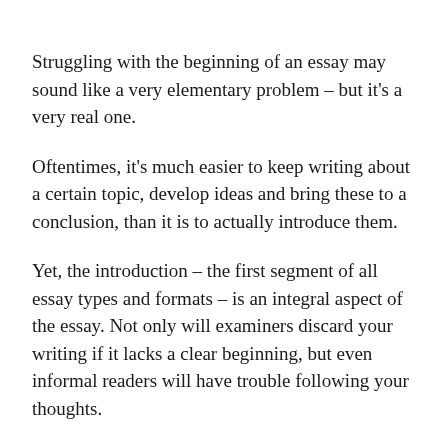Struggling with the beginning of an essay may sound like a very elementary problem – but it's a very real one.
Oftentimes, it's much easier to keep writing about a certain topic, develop ideas and bring these to a conclusion, than it is to actually introduce them.
Yet, the introduction – the first segment of all essay types and formats – is an integral aspect of the essay. Not only will examiners discard your writing if it lacks a clear beginning, but even informal readers will have trouble following your thoughts.
Luckily, there are a few very clear strategies as to how a good beginning to an essay should be formulated and written.